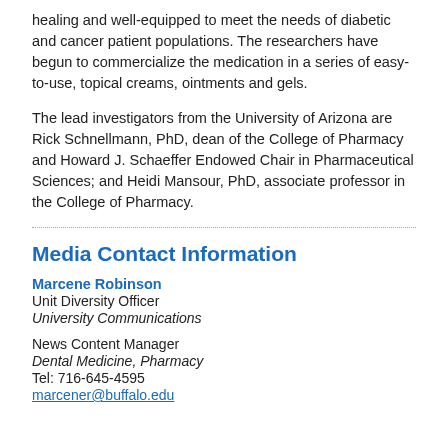healing and well-equipped to meet the needs of diabetic and cancer patient populations. The researchers have begun to commercialize the medication in a series of easy-to-use, topical creams, ointments and gels.
The lead investigators from the University of Arizona are Rick Schnellmann, PhD, dean of the College of Pharmacy and Howard J. Schaeffer Endowed Chair in Pharmaceutical Sciences; and Heidi Mansour, PhD, associate professor in the College of Pharmacy.
Media Contact Information
Marcene Robinson
Unit Diversity Officer
University Communications
News Content Manager
Dental Medicine, Pharmacy
Tel: 716-645-4595
marcener@buffalo.edu